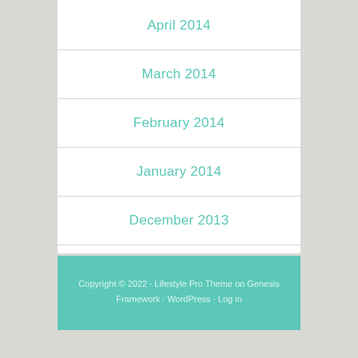April 2014
March 2014
February 2014
January 2014
December 2013
Copyright © 2022 · Lifestyle Pro Theme on Genesis Framework · WordPress · Log in